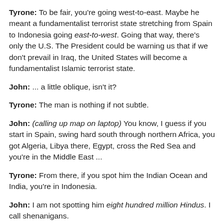Tyrone: To be fair, you're going west-to-east. Maybe he meant a fundamentalist terrorist state stretching from Spain to Indonesia going east-to-west. Going that way, there's only the U.S. The President could be warning us that if we don't prevail in Iraq, the United States will become a fundamentalist Islamic terrorist state.
John: ... a little oblique, isn't it?
Tyrone: The man is nothing if not subtle.
John: (calling up map on laptop) You know, I guess if you start in Spain, swing hard south through northern Africa, you got Algeria, Libya there, Egypt, cross the Red Sea and you're in the Middle East ...
Tyrone: From there, if you spot him the Indian Ocean and India, you're in Indonesia.
John: I am not spotting him eight hundred million Hindus. I call shenanigans.